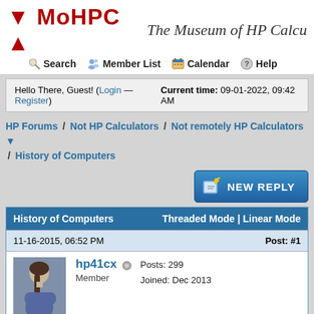↓ MoHPC ↑   The Museum of HP Calcu
Search   Member List   Calendar   Help
Hello There, Guest! (Login — Register)   Current time: 09-01-2022, 09:42 AM
HP Forums / Not HP Calculators / Not remotely HP Calculators ▼ / History of Computers
[Figure (screenshot): NEW REPLY button with pencil/paper icon]
| History of Computers | Threaded Mode | Linear Mode |
| --- | --- |
| 11-16-2015, 06:52 PM | Post: #1 |
| [avatar] hp41cx 🔘 Member   Posts: 299 Joined: Dec 2013 |  |
| History of Computers
History of Computers
___
Systems Analyst
My passions (Facebook) |  |